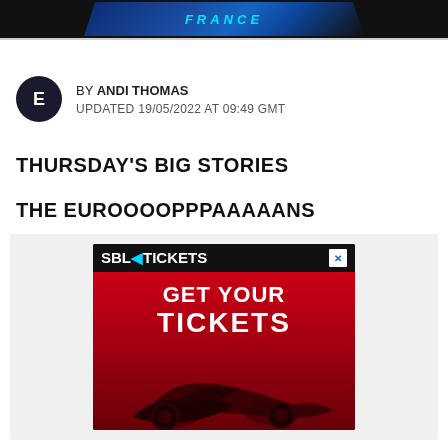FRANCE
BY ANDI THOMAS
UPDATED 19/05/2022 AT 09:49 GMT
THURSDAY'S BIG STORIES
THE EUROOOOPPPAAAAANS
[Figure (advertisement): SBK Tickets advertisement with red background showing GET YOUR TICKETS text and motorcycle racing silhouette]